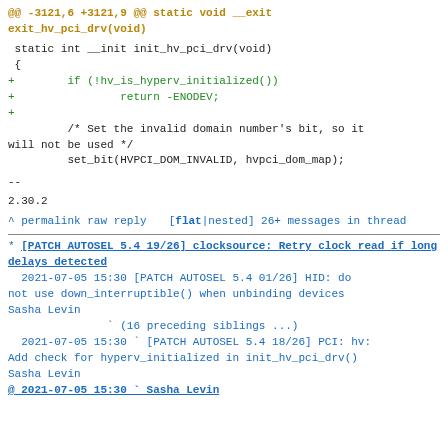@@ -3121,6 +3121,9 @@ static void __exit exit_hv_pci_drv(void)

 static int __init init_hv_pci_drv(void)
 {
+        if (!hv_is_hyperv_initialized())
+                return -ENODEV;
+
         /* Set the invalid domain number's bit, so it will not be used */
         set_bit(HVPCI_DOM_INVALID, hvpci_dom_map);

--
2.30.2
^ permalink raw reply   [flat|nested] 26+ messages in thread
* [PATCH AUTOSEL 5.4 19/26] clocksource: Retry clock read if long delays detected
  2021-07-05 15:30 [PATCH AUTOSEL 5.4 01/26] HID: do not use down_interruptible() when unbinding devices Sasha Levin
               ` (16 preceding siblings ...)
  2021-07-05 15:30 ` [PATCH AUTOSEL 5.4 18/26] PCI: hv: Add check for hyperv_initialized in init_hv_pci_drv() Sasha Levin
@ 2021-07-05 15:30 ` Sasha Levin